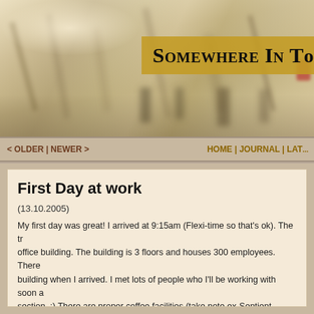[Figure (photo): Blurred banner header image showing people in motion with warm golden/beige tones, with the blog title 'Somewhere In To...' overlaid on a golden background strip]
< OLDER | NEWER >    HOME | JOURNAL | LAT...
First Day at work
(13.10.2005)
My first day was great! I arrived at 9:15am (Flexi-time so that's ok). The tr... office building. The building is 3 floors and houses 300 employees. There... building when I arrived. I met lots of people who I'll be working with soon a... section. ;) There are proper coffee facilities (take note ex-Sentient employ... coffee mugs, so we are allowed to leave them on our desks. :) There is a... are allowed to bring your dog to work with you! (Unless it's a Rottweiler!) T... and a decent-looking fuzzball table. :) I spent the morning making sure m... company from my co-worker Steve. Lunch is sometimes provided for free... the team usually go to a local restaurant for a decent hours sit down mea...